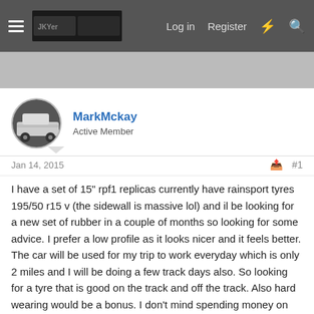Log in  Register
MarkMckay
Active Member
Jan 14, 2015  #1
I have a set of 15" rpf1 replicas currently have rainsport tyres 195/50 r15 v (the sidewall is massive lol) and il be looking for a new set of rubber in a couple of months so looking for some advice. I prefer a low profile as it looks nicer and it feels better. The car will be used for my trip to work everyday which is only 2 miles and I will be doing a few track days also. So looking for a tyre that is good on the track and off the track. Also hard wearing would be a bonus. I don't mind spending money on good tyres (says the guy with rep alloys 🙂 ) Any advice on tyre and tyre size would be perfect please 🙂
Thanks in advance 😄